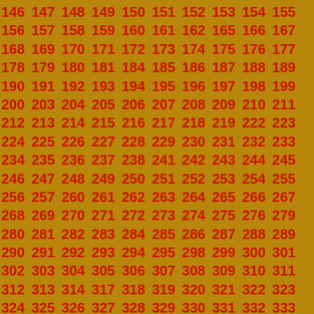146 147 148 149 150 151 152 153 154 155 156 157 158 159 160 161 162 165 166 167 168 169 170 171 172 173 174 175 176 177 178 179 180 181 184 185 186 187 188 189 190 191 192 193 194 195 196 197 198 199 200 203 204 205 206 207 208 209 210 211 212 213 214 215 216 217 218 219 222 223 224 225 226 227 228 229 230 231 232 233 234 235 236 237 238 241 242 243 244 245 246 247 248 249 250 251 252 253 254 255 256 257 260 261 262 263 264 265 266 267 268 269 270 271 272 273 274 275 276 279 280 281 282 283 284 285 286 287 288 289 290 291 292 293 294 295 298 299 300 301 302 303 304 305 306 307 308 309 310 311 312 313 314 317 318 319 320 321 322 323 324 325 326 327 328 329 330 331 332 333 336 337 338 339 340 341 342 343 344 345 346 347 348 349 350 351 352 355 356 357 358 359 360 361 362 363 364 365 366 367 368 369 370 371 374 375 376 377 378 379 380 381 382 383 384 385 386 387 388 389 390 393 394 395 396 397 398 399 400 401 402 403 404 405 406 407 408 409 412 413 414 415 416 417 418 419 420 421 422 423 424 425 426 427 428 431 432 433 434 435 436 437 438 439 440 441 442 443 444 445 446 447 450 451 452 453 454 455 456 457 458 459 460 461 462 463 464 465 466 469 470 471 472 473 474 475 476 477 478 479 480 481 482 483 484 485 488 489 490 491 492 493 494 495 496 497 498 499 500 501 502 503 504 507 508 509 510 511 512 513 514 515 516 517 518 519 520 521 522 523 526 527 528 529 530 531 532 533 534 535 536 537 538 539 540 541 542 545 546 547 548 549 550 551 552 553 554 555 556 557 558 559 560 561